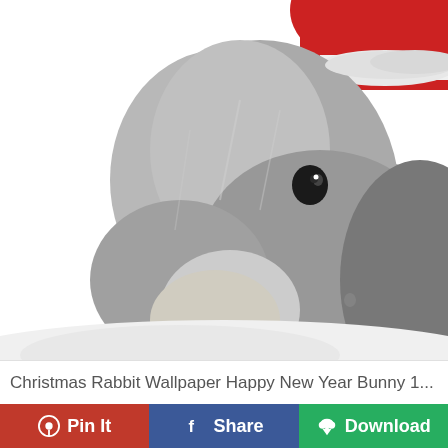[Figure (photo): Close-up photo of a gray rabbit wearing a red and white Santa Claus hat, against a white background. The rabbit's face and body fill most of the frame.]
Christmas Rabbit Wallpaper Happy New Year Bunny 1...
Pin It
Share
Download